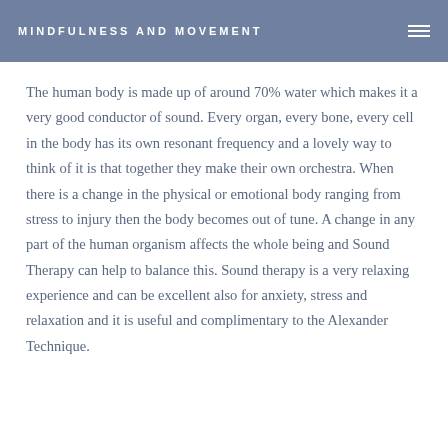MINDFULNESS AND MOVEMENT
The human body is made up of around 70% water which makes it a very good conductor of sound. Every organ, every bone, every cell in the body has its own resonant frequency and a lovely way to think of it is that together they make their own orchestra. When there is a change in the physical or emotional body ranging from stress to injury then the body becomes out of tune. A change in any part of the human organism affects the whole being and Sound Therapy can help to balance this. Sound therapy is a very relaxing experience and can be excellent also for anxiety, stress and relaxation and it is useful and complimentary to the Alexander Technique.